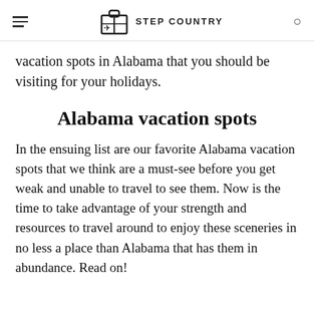STEP COUNTRY
vacation spots in Alabama that you should be visiting for your holidays.
Alabama vacation spots
In the ensuing list are our favorite Alabama vacation spots that we think are a must-see before you get weak and unable to travel to see them. Now is the time to take advantage of your strength and resources to travel around to enjoy these sceneries in no less a place than Alabama that has them in abundance. Read on!